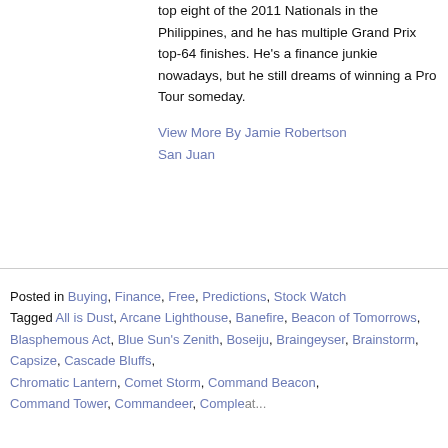top eight of the 2011 Nationals in the Philippines, and he has multiple Grand Prix top-64 finishes. He's a finance junkie nowadays, but he still dreams of winning a Pro Tour someday.
View More By Jamie Robertson San Juan
Posted in Buying, Finance, Free, Predictions, Stock Watch Tagged All is Dust, Arcane Lighthouse, Banefire, Beacon of Tomorrows, Blasphemous Act, Blue Sun's Zenith, Boseiju, Braingeyser, Brainstorm, Capsize, Cascade Bluffs, Chromatic Lantern, Comet Storm, Command Beacon, Command Tower, Commandeer, Compleat...